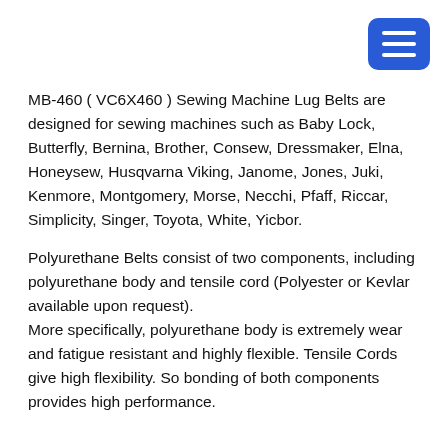[Figure (other): Blue rounded rectangle button with three horizontal white lines (hamburger/menu icon)]
MB-460 ( VC6X460 ) Sewing Machine Lug Belts are designed for sewing machines such as Baby Lock, Butterfly, Bernina, Brother, Consew, Dressmaker, Elna, Honeysew, Husqvarna Viking, Janome, Jones, Juki, Kenmore, Montgomery, Morse, Necchi, Pfaff, Riccar, Simplicity, Singer, Toyota, White, Yicbor.
Polyurethane Belts consist of two components, including polyurethane body and tensile cord (Polyester or Kevlar available upon request).
More specifically, polyurethane body is extremely wear and fatigue resistant and highly flexible. Tensile Cords give high flexibility. So bonding of both components provides high performance.